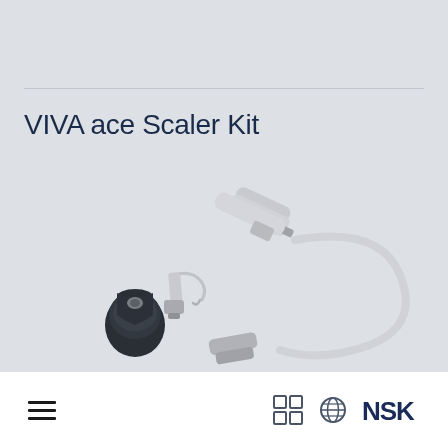VIVA ace Scaler Kit
[Figure (photo): VIVA ace Scaler Kit product photo showing a dental scaler handpiece connected to a coiled white hose/tubing, a dark-colored adapter/coupler piece, and a metal scaler tip instrument against a light gray background]
Navigation hamburger menu icon | Grid icon | Globe icon | NSK logo